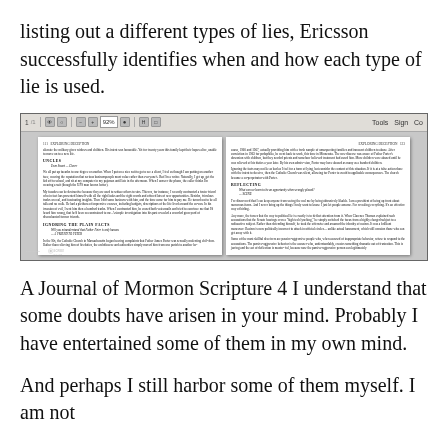listing out a different types of lies, Ericsson successfully identifies when and how each type of lie is used.
[Figure (screenshot): Screenshot of a PDF viewer showing two pages of a book discussing lies, with a Screencast-O-Matic watermark in the bottom-left corner. The PDF toolbar is visible at the top.]
A Journal of Mormon Scripture 4 I understand that some doubts have arisen in your mind. Probably I have entertained some of them in my own mind.
And perhaps I still harbor some of them myself. I am not